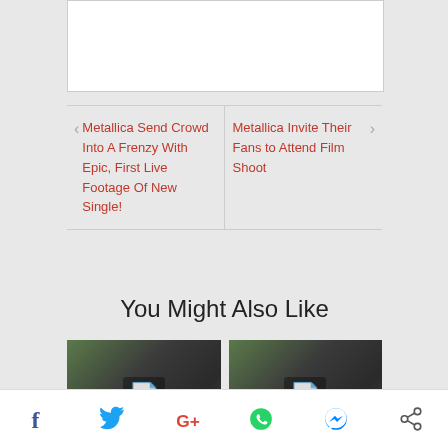[Figure (other): White content box placeholder at top]
< Metallica Send Crowd Into A Frenzy With Epic, First Live Footage Of New Single!
Metallica Invite Their Fans to Attend Film Shoot >
You Might Also Like
[Figure (photo): Thumbnail image showing people at outdoor event with document icon overlay]
[Figure (photo): Thumbnail image showing people at outdoor event with document icon overlay]
Social share bar with Facebook, Twitter, Google+, WhatsApp, Messenger, Share icons